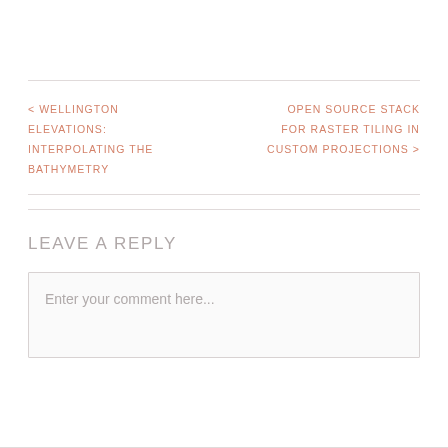< WELLINGTON ELEVATIONS: INTERPOLATING THE BATHYMETRY
OPEN SOURCE STACK FOR RASTER TILING IN CUSTOM PROJECTIONS >
LEAVE A REPLY
Enter your comment here...